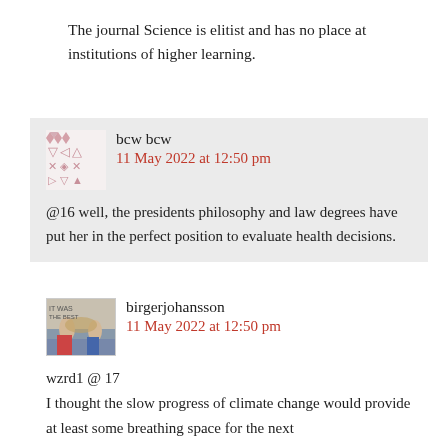The journal Science is elitist and has no place at institutions of higher learning.
19. bcw bcw
11 May 2022 at 12:50 pm
@16 well, the presidents philosophy and law degrees have put her in the perfect position to evaluate health decisions.
20. birgerjohansson
11 May 2022 at 12:50 pm
wzrd1 @ 17
I thought the slow progress of climate change would provide at least some breathing space for the next